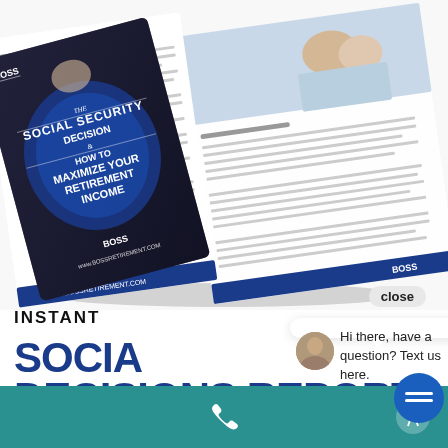[Figure (photo): Book titled 'The Social Security Decision & How to Maximize Your Retirement Income' by BOSS, shown as an open book with cover and interior pages visible. The cover is dark/black with blue circle design and white text. Interior pages show text and a photo of an older couple on a boat.]
close
INSTANT
Hi there, have a question? Text us here.
SOCIA
DECISIONS REPORT